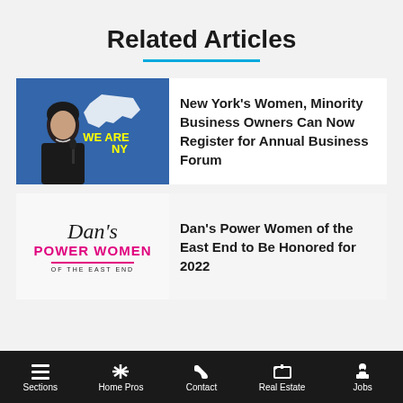Related Articles
[Figure (photo): Woman speaking at a podium in front of a blue 'We Are NY' banner]
New York's Women, Minority Business Owners Can Now Register for Annual Business Forum
[Figure (logo): Dan's Power Women of the East End logo]
Dan's Power Women of the East End to Be Honored for 2022
Sections   Home Pros   Contact   Real Estate   Jobs